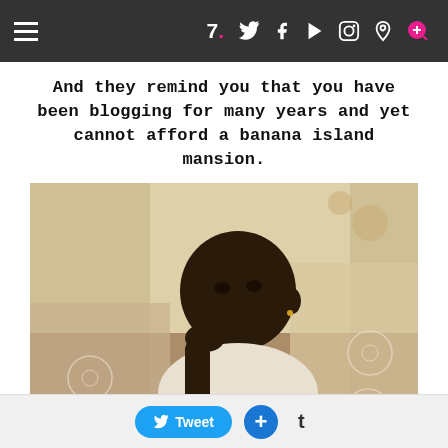7. [navigation bar with hamburger menu, Twitter, Facebook, YouTube, Instagram, Pinterest, Search icons]
And they remind you that you have been blogging for many years and yet cannot afford a banana island mansion.
[Figure (photo): Vintage photograph of a young Black child resting chin on hand, looking at camera with a serious expression, sitting on a lace-covered sofa/chair with floral curtains in the background]
Tweet  +  t